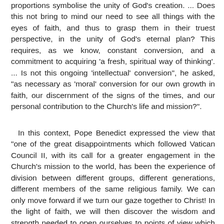proportions symbolise the unity of God's creation. ... Does this not bring to mind our need to see all things with the eyes of faith, and thus to grasp them in their truest perspective, in the unity of God's eternal plan? This requires, as we know, constant conversion, and a commitment to acquiring 'a fresh, spiritual way of thinking'. ... Is not this ongoing 'intellectual' conversion", he asked, "as necessary as 'moral' conversion for our own growth in faith, our discernment of the signs of the times, and our personal contribution to the Church's life and mission?".
In this context, Pope Benedict expressed the view that "one of the great disappointments which followed Vatican Council II, with its call for a greater engagement in the Church's mission to the world, has been the experience of division between different groups, different generations, different members of the same religious family. We can only move forward if we turn our gaze together to Christ! In the light of faith, we will then discover the wisdom and strength needed to open ourselves to points of view which may not necessarily conform to our own ideas or assumptions. ... In this way, we will move together towards that true spiritual renewal which the Council expressed, and which can only come about through prayer, conversion, and a renewed commitment to the truth.